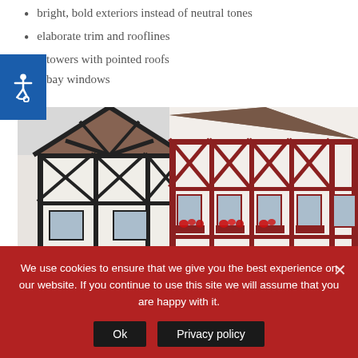bright, bold exteriors instead of neutral tones
elaborate trim and rooflines
towers with pointed roofs
bay windows
[Figure (photo): Two half-timbered German-style buildings photographed from below against a white sky. Left building has black timbers on white plaster, right building has red-brown timbers with flower boxes.]
We use cookies to ensure that we give you the best experience on our website. If you continue to use this site we will assume that you are happy with it.